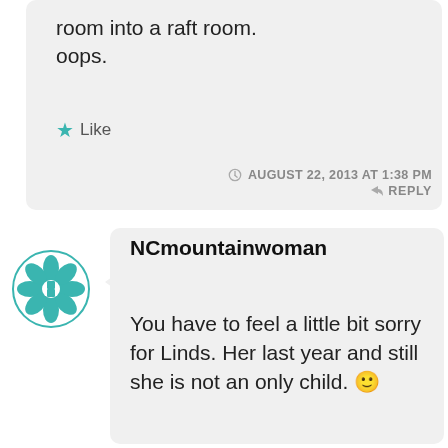room into a raft room. oops.
Like
AUGUST 22, 2013 AT 1:38 PM
REPLY
[Figure (illustration): Teal decorative geometric avatar icon for NCmountainwoman]
NCmountainwoman
You have to feel a little bit sorry for Linds. Her last year and still she is not an only child. 🙂